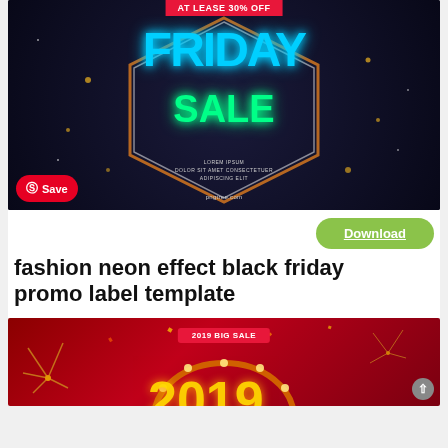[Figure (illustration): Black Friday neon sale promotional image with neon text 'FRIDAY SALE' in blue and green neon lights, hexagonal frame, dark background with dots, red badge reading 'AT LEASE 30% OFF', Lorem ipsum text, pngtree.com watermark, and Pinterest Save button]
Download
fashion neon effect black friday promo label template
[Figure (illustration): 2019 Big Sale promotional banner with red background, fireworks, '2019 BIG SALE' badge, circular light border, large golden '2019' text partially visible]